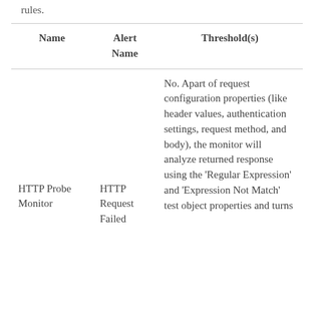rules.
| Name | Alert Name | Threshold(s) |
| --- | --- | --- |
| HTTP Probe Monitor | HTTP Request Failed | No. Apart of request configuration properties (like header values, authentication settings, request method, and body), the monitor will analyze returned response using the ‘Regular Expression’ and ‘Expression Not Match’ test object properties and turns |